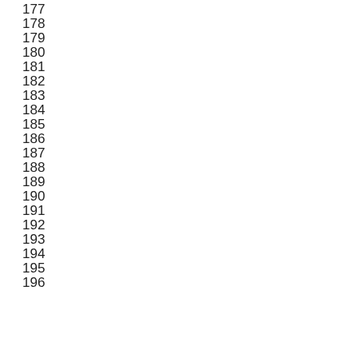177
178
179
180
181
182
183
184
185
186
187
188
189
190
191
192
193
194
195
196